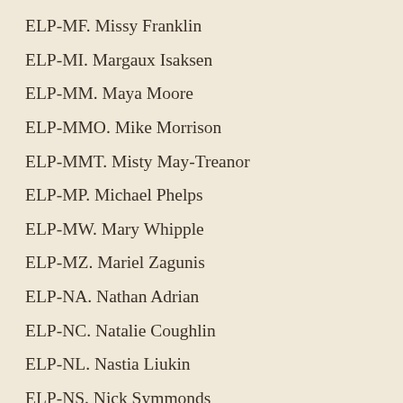ELP-MF.  Missy Franklin
ELP-MI.  Margaux Isaksen
ELP-MM.  Maya Moore
ELP-MMO.  Mike Morrison
ELP-MMT.  Misty May-Treanor
ELP-MP.  Michael Phelps
ELP-MW.  Mary Whipple
ELP-MZ.  Mariel Zagunis
ELP-NA.  Nathan Adrian
ELP-NC.  Natalie Coughlin
ELP-NL.  Nastia Liukin
ELP-NS.  Nick Symmonds
ELP-PD.  Phil Dalhausser
ELP-PM.  Paige McPherson
ELP-PR.  Paige Railey
ELP-RB.  Ricky Berens
ELP-RL.  Ryan Lochte
ELP-RS.  Rebecca Soni
ELP-RW.  Rau'Shee Warren
ELP-SA.  Seimone Augustus
ELP-SB.  Sue Bird
ELP-SF.  Susan Francia